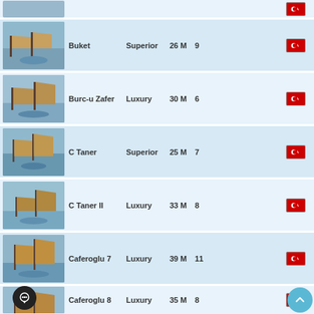Buket | Superior | 26 M | 9 | Turkey
Burc-u Zafer | Luxury | 30 M | 6 | Turkey
C Taner | Superior | 25 M | 7 | Turkey
C Taner II | Luxury | 33 M | 8 | Turkey
Caferoglu 7 | Luxury | 39 M | 11 | Turkey
Caferoglu 8 | Luxury | 35 M | 8 | Turkey